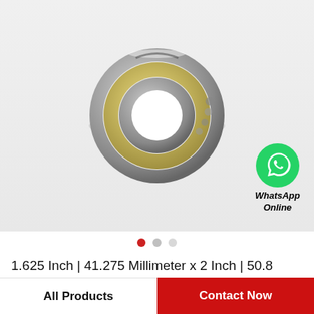[Figure (photo): Angular contact ball bearing, metallic silver outer and inner rings with golden/brass cage, viewed at slight angle showing ring profile. Rendered on light gray background.]
[Figure (logo): WhatsApp green circle icon with white phone handset, labeled 'WhatsApp Online' in bold italic text below.]
1.625 Inch | 41.275 Millimeter x 2 Inch | 50.8 Millimeter x 1.015 Inch | 25.781 Millimeter IK…
All Products
Contact Now